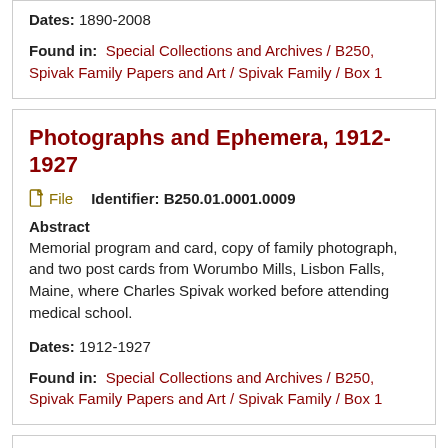Dates: 1890-2008
Found in: Special Collections and Archives / B250, Spivak Family Papers and Art / Spivak Family / Box 1
Photographs and Ephemera, 1912-1927
File   Identifier: B250.01.0001.0009
Abstract
Memorial program and card, copy of family photograph, and two post cards from Worumbo Mills, Lisbon Falls, Maine, where Charles Spivak worked before attending medical school.
Dates: 1912-1927
Found in: Special Collections and Archives / B250, Spivak Family Papers and Art / Spivak Family / Box 1
Rosenheyn Agriculatural Colony, NJ, 2009